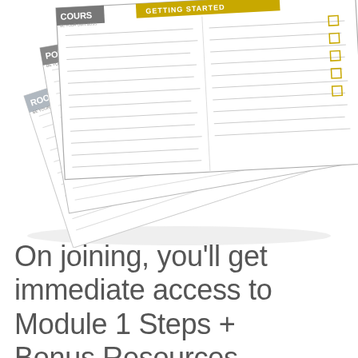[Figure (illustration): A stack of fanned-out document pages/worksheets shown in perspective, including course worksheets with checkboxes, tables, and form-like layouts. Pages have labels like COURS, POW, ROO visible on tabs. The stack is rendered with a 3D perspective on a white background.]
On joining, you'll get immediate access to Module 1 Steps + Bonus Resources